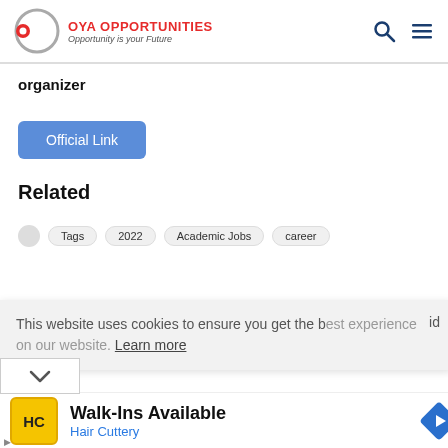OYA OPPORTUNITIES – Opportunity is your Future
organizer
Official Link
Related
Tags  2022  Academic Jobs  career
This website uses cookies to ensure you get the best experience on our website. Learn more
[Figure (infographic): Advertisement for Hair Cuttery Walk-Ins Available with yellow HC logo and blue diamond navigation arrow]
Walk-Ins Available
Hair Cuttery